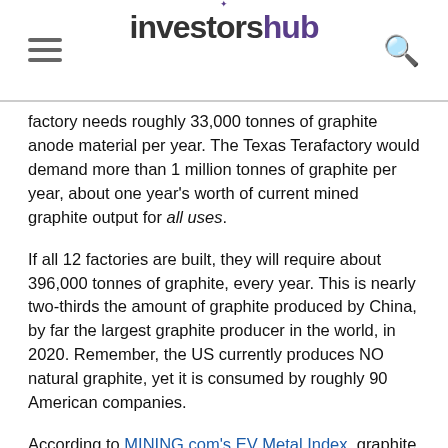investorshub
factory needs roughly 33,000 tonnes of graphite anode material per year. The Texas Terafactory would demand more than 1 million tonnes of graphite per year, about one year's worth of current mined graphite output for all uses.
If all 12 factories are built, they will require about 396,000 tonnes of graphite, every year. This is nearly two-thirds the amount of graphite produced by China, by far the largest graphite producer in the world, in 2020. Remember, the US currently produces NO natural graphite, yet it is consumed by roughly 90 American companies.
According to MINING.com's EV Metal Index, graphite prices have held steady above $700 a tonne in 2021. But the more important number is the dramatically higher amount of graphite being used for EV batteries. MINING.com states:
In April 2021, just over 14,000 tonnes of synthetic and natural graphite were deployed globally in batteries of all newly-sold passenger EVs combined, a 233% jump over the same month last year.